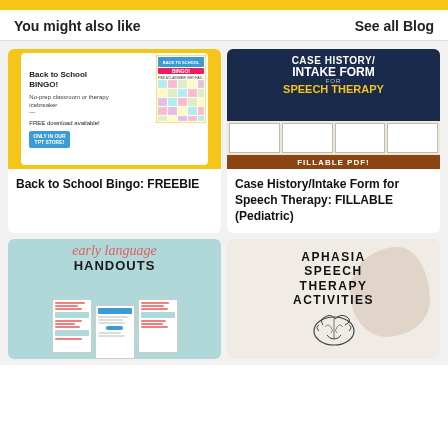You might also like | See all Blog
[Figure (illustration): Back to School Bingo card illustration with yellow background, showing a bingo card graphic and text about free download]
Back to School Bingo: FREEBIE
[Figure (illustration): Case History/Intake Form for Speech Therapy with dark navy header and form preview]
Case History/Intake Form for Speech Therapy: FILLABLE (Pediatric)
[Figure (illustration): Early language handouts with teal background showing handout papers]
[Figure (illustration): Aphasia Speech Therapy Activities with beige background and brain illustration]